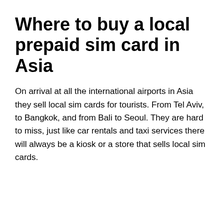Where to buy a local prepaid sim card in Asia
On arrival at all the international airports in Asia they sell local sim cards for tourists. From Tel Aviv, to Bangkok, and from Bali to Seoul. They are hard to miss, just like car rentals and taxi services there will always be a kiosk or a store that sells local sim cards.